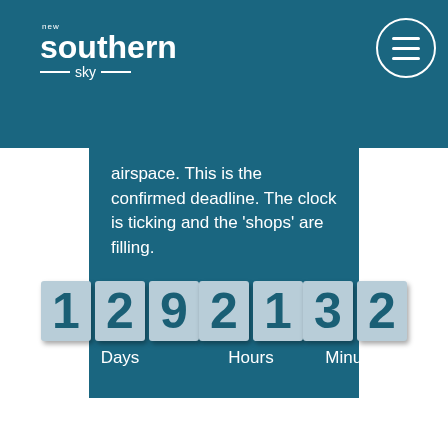[Figure (logo): New Southern Sky logo - white text on teal background with decorative lines around 'sky']
[Figure (other): Hamburger menu button - three horizontal lines inside a circle, white on teal]
airspace. This is the confirmed deadline. The clock is ticking and the ‘shops’ are filling.
[Figure (infographic): Countdown timer showing 129 Days, 21 Hours, 32 Minutes in flip-clock style digit boxes]